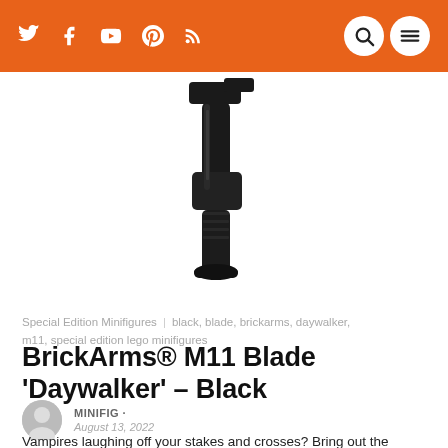Twitter Facebook YouTube Pinterest RSS | Search Menu
[Figure (photo): Close-up product photo of a black BrickArms M11 Blade 'Daywalker' LEGO minifigure accessory against white background]
Special Edition Minifigures | black, blade, brickarms, daywalker, m11, special edition lego minifigures
BrickArms® M11 Blade 'Daywalker' – Black
MINIFIG · August 13, 2022
Vampires laughing off your stakes and crosses? Bring out the firepower of the BrickArms M11 'Daywalker' LEGO...